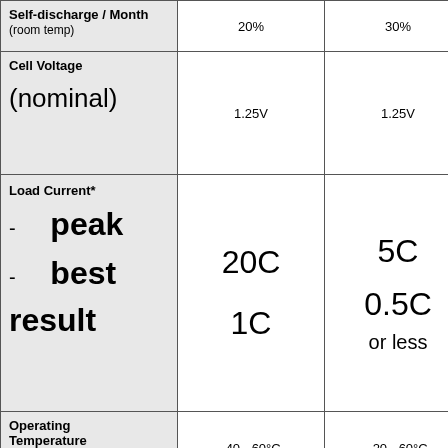| Property | NiMH/NiCd | NiCd | Lead Acid | (clipped) |
| --- | --- | --- | --- | --- |
| Self-discharge / Month (room temp) | 20% | 30% | 5% |  |
| Cell Voltage (nominal) | 1.25V | 1.25V | 2V |  |
| Load Current* - peak - best result | 20C
1C | 5C
0.5C
or less | 5C
0.2C | ≥...
5... |
| Operating Temperature | -40 - 60°C | -20 - 60°C | -20 - 60°C |  |
| Maintenance Requirement | 30 - 60 days | 60 - 90 days | 3 - 6 months |  |
| Typical Battery Cost | 5.0
(7.2V) | 6.0
(7.2V) | 2.5
(6V) | ( |